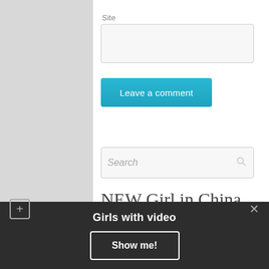Site
[Figure (screenshot): Empty text input field for Site URL]
Leave a comment
[Figure (screenshot): Search input field with magnifying glass icon and placeholder text 'Search']
NEW Girl in China
Girls with video
Show me!